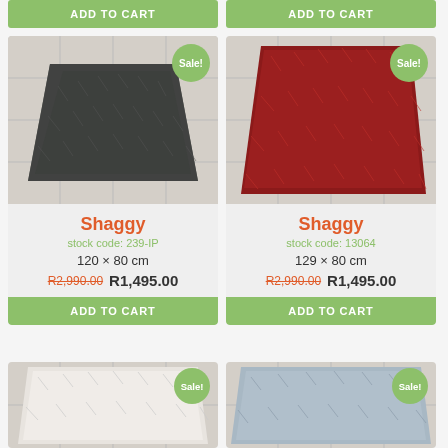ADD TO CART
ADD TO CART
[Figure (photo): Dark grey shaggy rug on tiled floor with Sale! badge]
Shaggy
stock code: 239-IP
120 × 80 cm
R2,990.00 R1,495.00
ADD TO CART
[Figure (photo): Red shaggy rug on tiled floor with Sale! badge]
Shaggy
stock code: 13064
129 × 80 cm
R2,990.00 R1,495.00
ADD TO CART
[Figure (photo): White/cream shaggy rug on floor with Sale! badge (partial)]
[Figure (photo): Light blue shaggy rug on floor with Sale! badge (partial)]